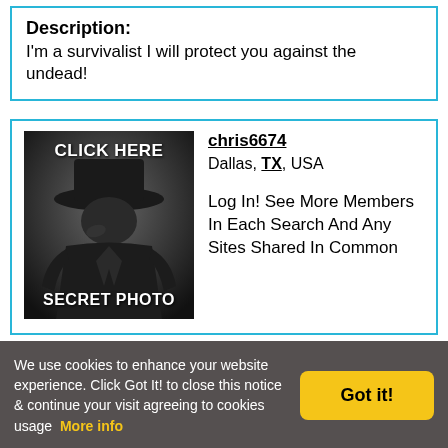Description:
I'm a survivalist I will protect you against the undead!
[Figure (photo): Black and white mystery figure wearing a fedora hat, with text overlays 'CLICK HERE' at top and 'SECRET PHOTO' at bottom]
chris6674
Dallas, TX, USA

Log In! See More Members In Each Search And Any Sites Shared In Common
We use cookies to enhance your website experience. Click Got It! to close this notice & continue your visit agreeing to cookies usage  More info